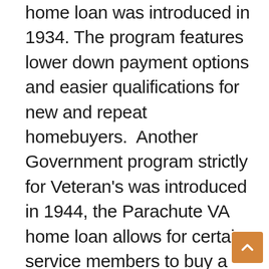home loan was introduced in 1934. The program features lower down payment options and easier qualifications for new and repeat homebuyers.  Another Government program strictly for Veteran's was introduced in 1944, the Parachute VA home loan allows for certain service members to buy a home with no money down even with lower credit scores.  Another favorite of ours, the USDA home loan created in 1991 offers the no money down option.  Last but not least a homebuyer favorite the forgivable Parachute FHA homebuyer grant.  With over 24 years of experience our experts are here to